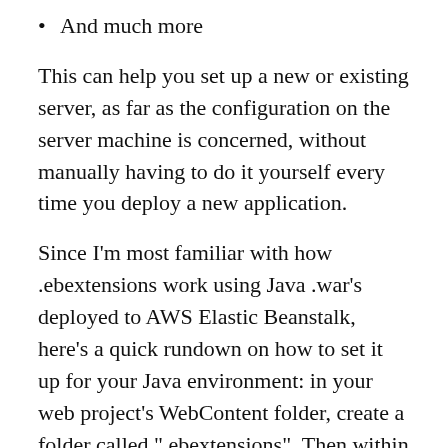And much more
This can help you set up a new or existing server, as far as the configuration on the server machine is concerned, without manually having to do it yourself every time you deploy a new application.
Since I’m most familiar with how .ebextensions work using Java .war’s deployed to AWS Elastic Beanstalk, here’s a quick rundown on how to set it up for your Java environment: in your web project’s WebContent folder, create a folder called “.ebextensions”. Then within the .ebextensions folder you can create one or many files ending with a .config extension.